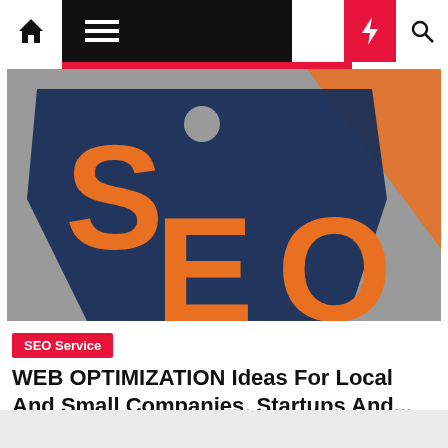Navigation bar with home, menu, dark mode, bolt, and search icons
[Figure (photo): SEO tag/label with dark navy blue background and orange 'SEO' text lettering, with an orange diagonal stripe on a grey background]
SEO Service
WEB OPTIMIZATION Ideas For Local And Small Companies, Startups And...
Bella Kyle  1 year ago